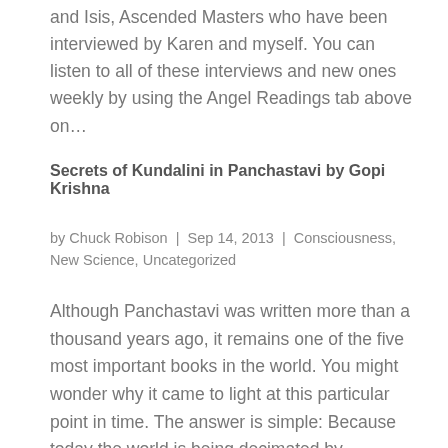and Isis, Ascended Masters who have been interviewed by Karen and myself. You can listen to all of these interviews and new ones weekly by using the Angel Readings tab above on…
Secrets of Kundalini in Panchastavi by Gopi Krishna
by Chuck Robison | Sep 14, 2013 | Consciousness, New Science, Uncategorized
Although Panchastavi was written more than a thousand years ago, it remains one of the five most important books in the world. You might wonder why it came to light at this particular point in time. The answer is simple: Because today the world is being decimated by…